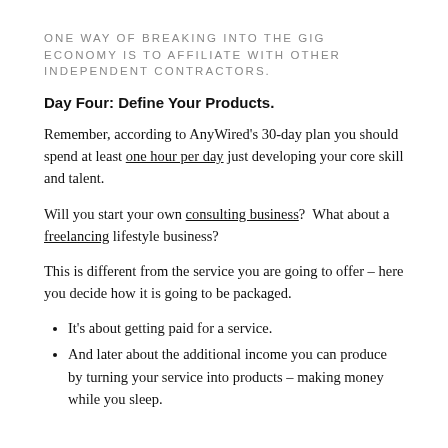ONE WAY OF BREAKING INTO THE GIG ECONOMY IS TO AFFILIATE WITH OTHER INDEPENDENT CONTRACTORS.
Day Four: Define Your Products.
Remember, according to AnyWired's 30-day plan you should spend at least one hour per day just developing your core skill and talent.
Will you start your own consulting business?  What about a freelancing lifestyle business?
This is different from the service you are going to offer – here you decide how it is going to be packaged.
It's about getting paid for a service.
And later about the additional income you can produce by turning your service into products – making money while you sleep.